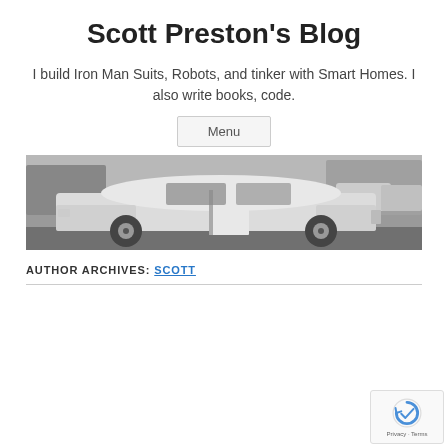Scott Preston's Blog
I build Iron Man Suits, Robots, and tinker with Smart Homes. I also write books, code.
Menu
[Figure (photo): Black and white photograph of a classic muscle car (appears to be a late 1960s Pontiac) with the driver door open, parked on a street with other vehicles visible in the background.]
AUTHOR ARCHIVES: SCOTT